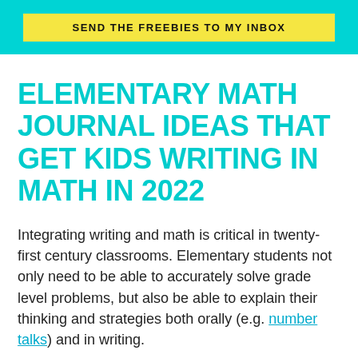[Figure (other): Teal/cyan banner with a yellow button labeled SEND THE FREEBIES TO MY INBOX]
ELEMENTARY MATH JOURNAL IDEAS THAT GET KIDS WRITING IN MATH IN 2022
Integrating writing and math is critical in twenty-first century classrooms. Elementary students not only need to be able to accurately solve grade level problems, but also be able to explain their thinking and strategies both orally (e.g. number talks) and in writing.